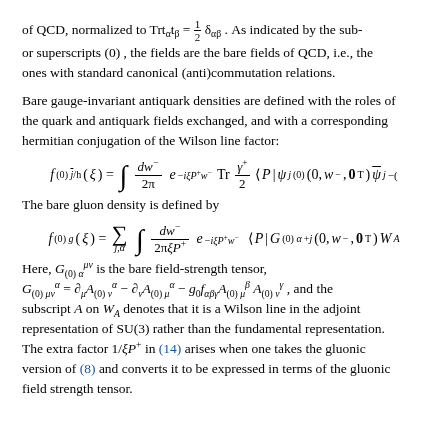of QCD, normalized to Trt_α t_β = ½ δ_αβ . As indicated by the sub- or superscripts (0) , the fields are the bare fields of QCD, i.e., the ones with standard canonical (anti)commutation relations.
Bare gauge-invariant antiquark densities are defined with the roles of the quark and antiquark fields exchanged, and with a corresponding hermitian conjugation of the Wilson line factor:
The bare gluon density is defined by
Here, G^{μν}_{(0) α} is the bare field-strength tensor, G^α_{(0) μν} = ∂_μ A^α_{(0) ν} − ∂_ν A^α_{(0) μ} − g₀ f_{αβγ} A^β_{(0) μ} A^γ_{(0) ν} , and the subscript A on W_A denotes that it is a Wilson line in the adjoint representation of SU(3) rather than the fundamental representation. The extra factor 1/ξP⁺ in (14) arises when one takes the gluonic version of (8) and converts it to be expressed in terms of the gluonic field strength tensor.